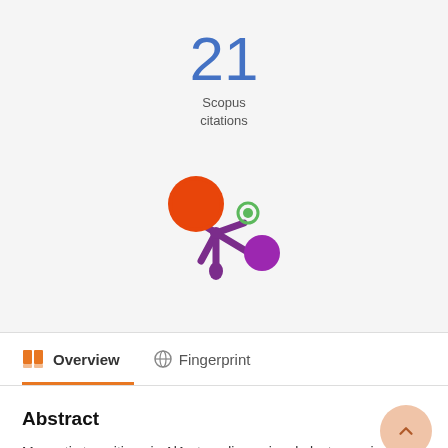21
Scopus
citations
[Figure (logo): Altmetric/Plum Analytics donut-style logo with orange large circle, small green circle, purple medium circle, and purple splat/asterisk center]
Overview   Fingerprint
Abstract
Magnetic transitions in AlAs two-dimensional electrons give rise